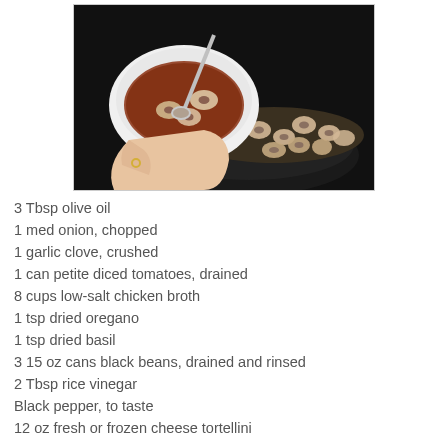[Figure (photo): A hand holding a spoon over a white bowl containing tortellini soup with a dark broth, with more tortellini visible in a pot below.]
3 Tbsp olive oil
1 med onion, chopped
1 garlic clove, crushed
1 can petite diced tomatoes, drained
8 cups low-salt chicken broth
1 tsp dried oregano
1 tsp dried basil
3 15 oz cans black beans, drained and rinsed
2 Tbsp rice vinegar
Black pepper, to taste
12 oz fresh or frozen cheese tortellini
In a large soup pot, heat olive oil over medium heat. Add the